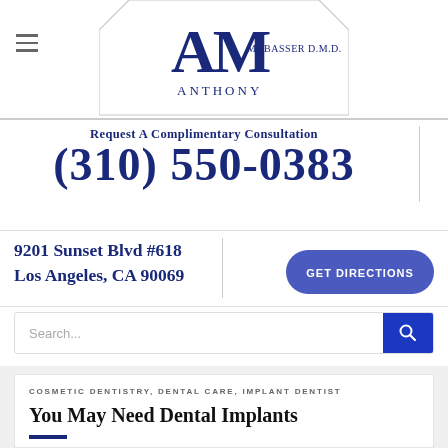[Figure (logo): AM Mobasser D.M.D. Anthony dental practice logo with large AM initials in navy blue and text 'MOBASSER D.M.D.' and 'ANTHONY' beneath, inside a diamond/polygon shaped border]
Request A Complimentary Consultation
(310) 550-0383
9201 Sunset Blvd #618
Los Angeles, CA 90069
GET DIRECTIONS
Search...
COSMETIC DENTISTRY, DENTAL CARE, IMPLANT DENTIST
You May Need Dental Implants